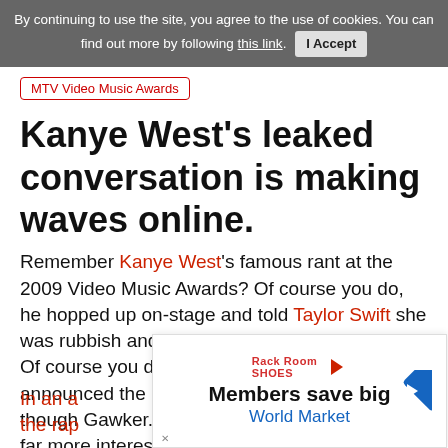By continuing to use the site, you agree to the use of cookies. You can find out more by following this link. I Accept
MTV Video Music Awards
Kanye West's leaked conversation is making waves online.
Remember Kanye West's famous rant at the 2009 Video Music Awards? Of course you do, he hopped up on-stage and told Taylor Swift she was rubbish and that Beyonce was really good. Of course you do. On Wednesday, MTV announced the nominees for this year's show, though Gawker.com has uncovered something far more interesting.
In an a...est, the rap...st
[Figure (infographic): Advertisement overlay: Members save big, World Market logo with navigation arrow icon and play button]